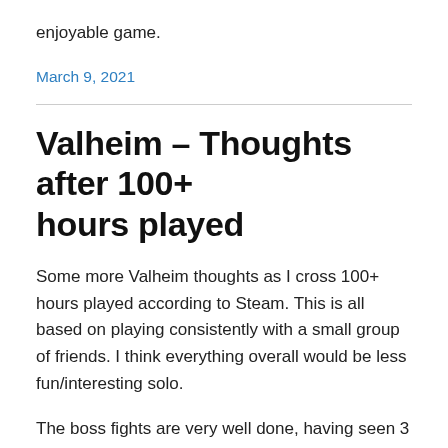enjoyable game.
March 9, 2021
Valheim – Thoughts after 100+ hours played
Some more Valheim thoughts as I cross 100+ hours played according to Steam. This is all based on playing consistently with a small group of friends. I think everything overall would be less fun/interesting solo.
The boss fights are very well done, having seen 3 of the 5 so far (number 4 will be this Saturday). They remind me of oldschool MMO raid bosses in that when you first attempt them, you go through a learning curve of their mechanics